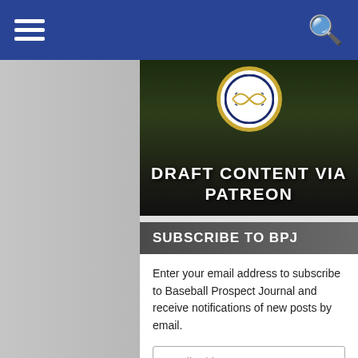Navigation bar with hamburger menu and search icon
[Figure (photo): Patreon banner for Baseball Prospect Journal showing a baseball logo and text 'DRAFT CONTENT VIA PATREON' over a dark stadium background]
SUBSCRIBE TO BPJ
Enter your email address to subscribe to Baseball Prospect Journal and receive notifications of new posts by email.
2022 MLB DRAFT COUNTDOWN
Time until the 2022 MLB draft begins
July 17, 2022